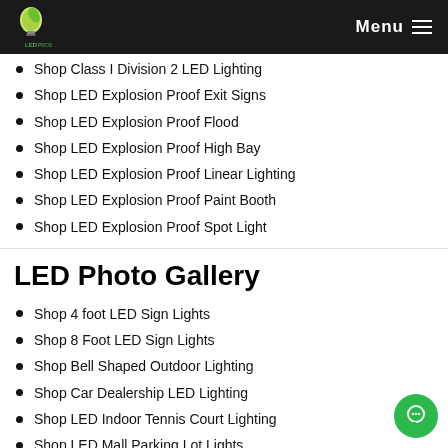LED Pros — Menu
Shop Class I Division 2 LED Lighting
Shop LED Explosion Proof Exit Signs
Shop LED Explosion Proof Flood
Shop LED Explosion Proof High Bay
Shop LED Explosion Proof Linear Lighting
Shop LED Explosion Proof Paint Booth
Shop LED Explosion Proof Spot Light
LED Photo Gallery
Shop 4 foot LED Sign Lights
Shop 8 Foot LED Sign Lights
Shop Bell Shaped Outdoor Lighting
Shop Car Dealership LED Lighting
Shop LED Indoor Tennis Court Lighting
Shop LED Mall Parking Lot Lights
Shop LED Outdoor Sports Lighting
Shop LED Outdoor Tennis Court Lighting